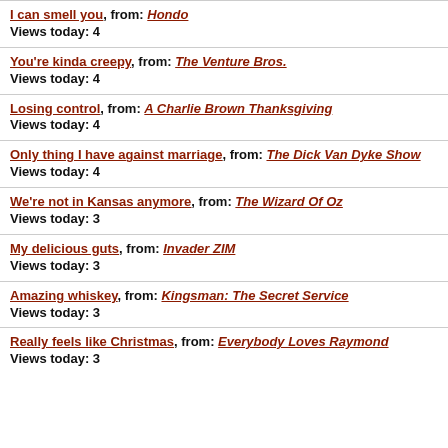I can smell you, from: Hondo
Views today: 4
You're kinda creepy, from: The Venture Bros.
Views today: 4
Losing control, from: A Charlie Brown Thanksgiving
Views today: 4
Only thing I have against marriage, from: The Dick Van Dyke Show
Views today: 4
We're not in Kansas anymore, from: The Wizard Of Oz
Views today: 3
My delicious guts, from: Invader ZIM
Views today: 3
Amazing whiskey, from: Kingsman: The Secret Service
Views today: 3
Really feels like Christmas, from: Everybody Loves Raymond
Views today: 3